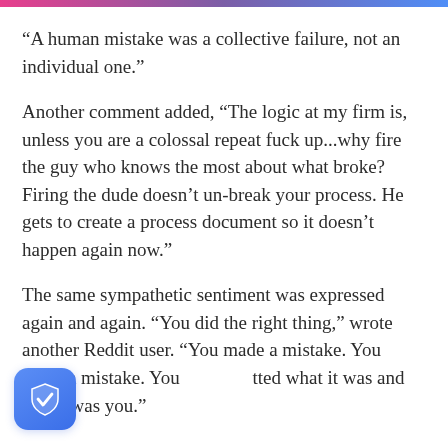“A human mistake was a collective failure, not an individual one.”
Another comment added, “The logic at my firm is, unless you are a colossal repeat fuck up...why fire the guy who knows the most about what broke? Firing the dude doesn’t un-break your process. He gets to create a process document so it doesn’t happen again now.”
The same sympathetic sentiment was expressed again and again. “You did the right thing,” wrote another Reddit user. “You made a mistake. You admitted what it was and that it was you.”
[Figure (logo): Blue shield icon with white checkmark, rounded square shape]